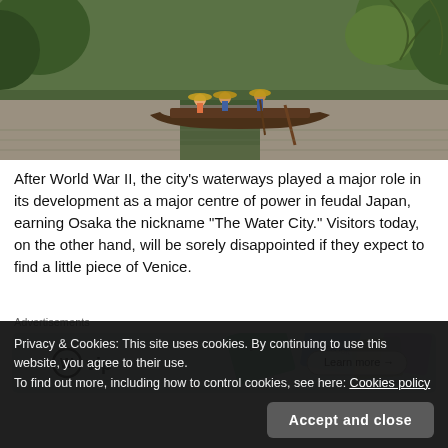[Figure (photo): People on a traditional wooden boat on a green canal waterway, surrounded by trees and reflections in water. Passengers wearing conical hats with poles.]
After World War II, the city's waterways played a major role in its development as a major centre of power in feudal Japan, earning Osaka the nickname “The Water City.” Visitors today, on the other hand, will be sorely disappointed if they expect to find a little piece of Venice.
Advertisements
[Figure (screenshot): WordPress VIP advertisement banner with colorful overlapping cards (Slack, Facebook logos visible) and a 'Learn more' button.]
Privacy & Cookies: This site uses cookies. By continuing to use this website, you agree to their use.
To find out more, including how to control cookies, see here: Cookies policy
[Figure (photo): Bottom portion of another photo, partially visible, showing a grey-blue scene.]